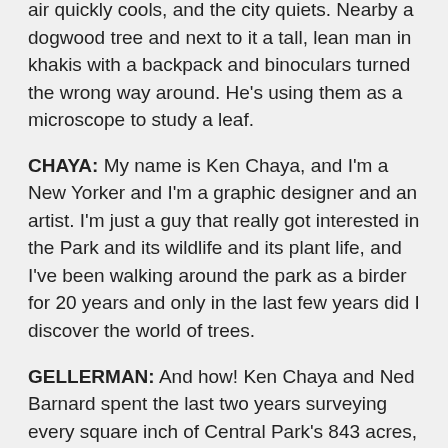air quickly cools, and the city quiets. Nearby a dogwood tree and next to it a tall, lean man in khakis with a backpack and binoculars turned the wrong way around. He's using them as a microscope to study a leaf.
CHAYA: My name is Ken Chaya, and I'm a New Yorker and I'm a graphic designer and an artist. I'm just a guy that really got interested in the Park and its wildlife and its plant life, and I've been walking around the park as a birder for 20 years and only in the last few years did I discover the world of trees.
GELLERMAN: And how! Ken Chaya and Ned Barnard spent the last two years surveying every square inch of Central Park's 843 acres, counting and mapping virtually every single tree of significant size. The result: “Central Park Entire: The Definitive, Illustrated Folding Map.”
CHAYA: All 19, 933 trees on this map represent real trees